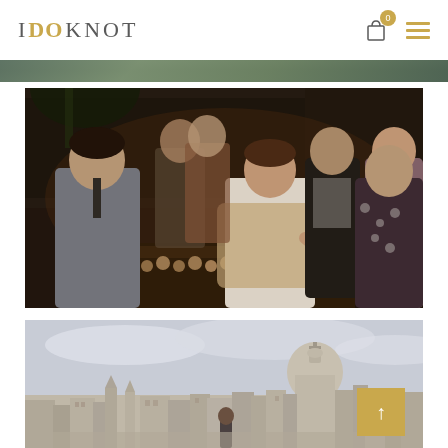I DO KNOT
[Figure (photo): Partial top strip of an outdoor/garden scene, partially visible at top of page]
[Figure (photo): Indoor wedding reception scene with guests at a buffet table filled with food and desserts, warm evening lighting, large windows in background]
[Figure (photo): Aerial cityscape view showing historic city with domed cathedral (Valletta, Malta), overcast sky, person visible on rooftop in foreground]